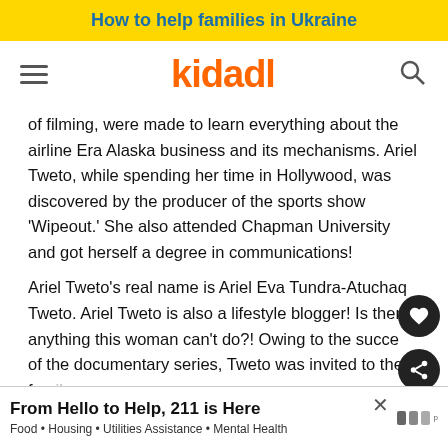How to help families in Ukraine
[Figure (logo): Kidadl website logo with hamburger menu and search icon in navigation bar]
of filming, were made to learn everything about the airline Era Alaska business and its mechanisms. Ariel Tweto, while spending her time in Hollywood, was discovered by the producer of the sports show 'Wipeout.' She also attended Chapman University and got herself a degree in communications!
Ariel Tweto's real name is Ariel Eva Tundra-Atuchaq Tweto. Ariel Tweto is also a lifestyle blogger! Is there anything this woman can't do?! Owing to the success of the documentary series, Tweto was invited to the fa... ...erguso... Sh...
[Figure (infographic): Advertisement banner: From Hello to Help, 211 is Here. Food • Housing • Utilities Assistance • Mental Health]